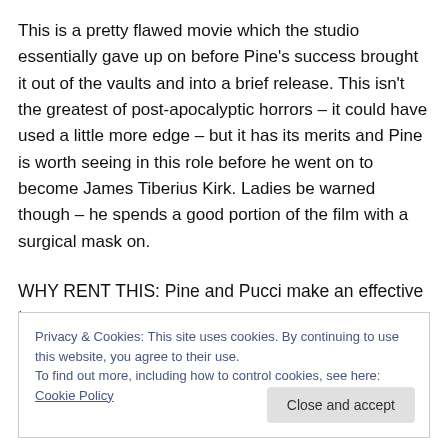This is a pretty flawed movie which the studio essentially gave up on before Pine's success brought it out of the vaults and into a brief release. This isn't the greatest of post-apocalyptic horrors – it could have used a little more edge – but it has its merits and Pine is worth seeing in this role before he went on to become James Tiberius Kirk. Ladies be warned though – he spends a good portion of the film with a surgical mask on.
WHY RENT THIS: Pine and Pucci make an effective team.
Privacy & Cookies: This site uses cookies. By continuing to use this website, you agree to their use. To find out more, including how to control cookies, see here: Cookie Policy